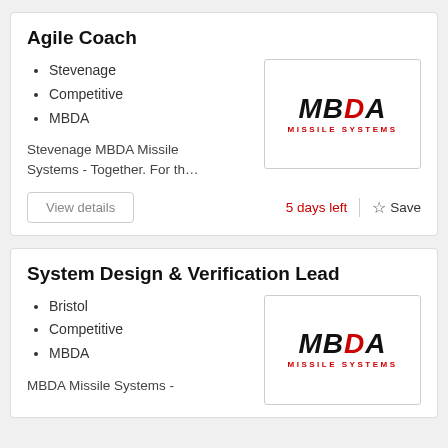Agile Coach
Stevenage
Competitive
MBDA
[Figure (logo): MBDA Missile Systems logo — bold italic black text MBDA with red dot, red subtitle MISSILE SYSTEMS]
Stevenage MBDA Missile Systems - Together. For th…
View details
5 days left
Save
System Design & Verification Lead
Bristol
Competitive
MBDA
[Figure (logo): MBDA Missile Systems logo — bold italic black text MBDA with red dot, red subtitle MISSILE SYSTEMS]
MBDA Missile Systems -